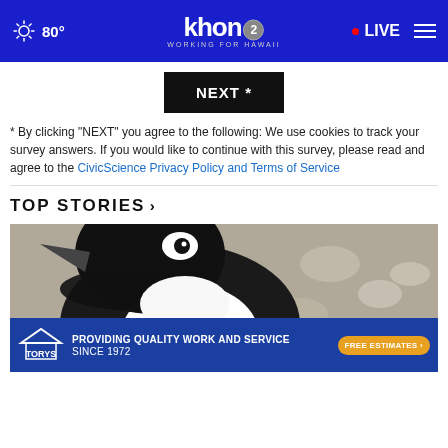khon2 WORKING FOR HAWAII — 80° — LIVE
NEXT *
* By clicking "NEXT" you agree to the following: We use cookies to track your survey answers. If you would like to continue with this survey, please read and agree to the CivicScience Privacy Policy and Terms of Service
TOP STORIES ›
[Figure (photo): Close-up photograph of a black and white penguin against a blurred rocky/pebble background]
[Figure (photo): Advertisement banner for Torys Roofing & Waterproofing Inc. — PROVIDING QUALITY WORK AND SERVICE SINCE 1972 — FREE ESTIMATES]